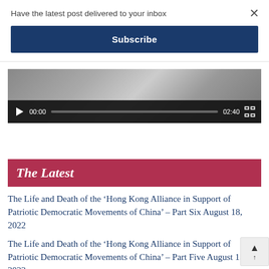Have the latest post delivered to your inbox
Subscribe
[Figure (screenshot): Video player showing a partially visible video still of a person at a desk, with dark playback controls showing play button, time 00:00, progress bar, duration 02:40, and fullscreen icon.]
The Latest
The Life and Death of the ‘Hong Kong Alliance in Support of Patriotic Democratic Movements of China’ – Part Six August 18, 2022
The Life and Death of the ‘Hong Kong Alliance in Support of Patriotic Democratic Movements of China’ – Part Five August 15, 2022